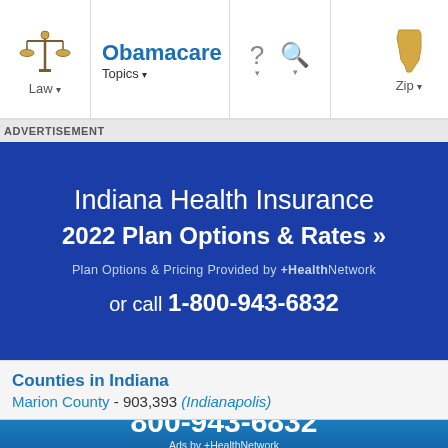Law ▾   Obamacare Topics ▾   ?  🔍   Zip ▾
ADVERTISEMENT
[Figure (screenshot): Blue advertisement block for Indiana Health Insurance showing '2022 Plan Options & Rates »', 'Plan Options & Pricing Provided by +HealthNetwork', 'or call 1-800-943-6832']
Counties in Indiana
Marion County - 903,393 (Indianapolis)
Speak with a Health Insurance Expert
800-943-6832
Ads by +HealthNetwork